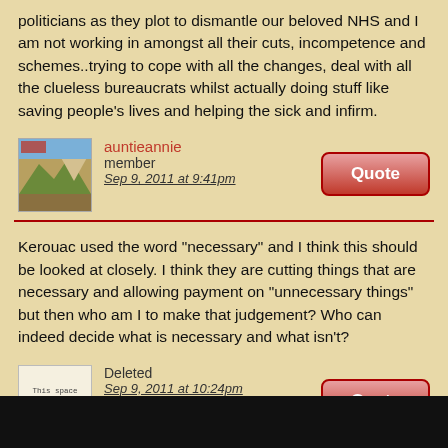...I stand the same and rail at the ridiculous, lying posturing of our politicians as they plot to dismantle our beloved NHS and I am not working in amongst all their cuts, incompetence and schemes..trying to cope with all the changes, deal with all the clueless bureaucrats whilst actually doing stuff like saving people's lives and helping the sick and infirm.
[Figure (photo): User avatar showing a mountain landscape photo]
auntieannie
member
Sep 9, 2011 at 9:41pm
Quote
Kerouac used the word "necessary" and I think this should be looked at closely. I think they are cutting things that are necessary and allowing payment on "unnecessary things" but then who am I to make that judgement? Who can indeed decide what is necessary and what isn't?
[Figure (other): Placeholder avatar with text: This space intentionally left blank.]
Deleted
Sep 9, 2011 at 10:24pm
Quote
Well, I was using the idea basically as "life-threatening" vs. "non life-threatening" -- but I'm sure that all of us can think of at least a dozen debatable medical conditions that could justifiably be placed in either group.
[Figure (other): Placeholder avatar with text: This space intentionally left blank.]
onlymark